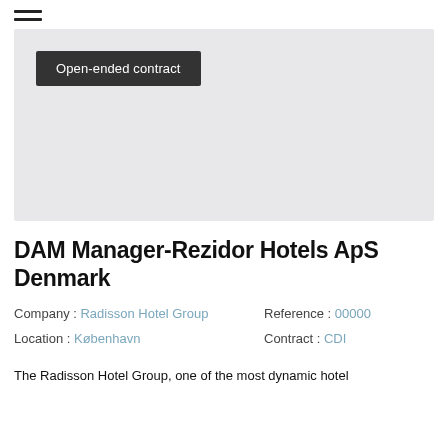☰
[Figure (other): Gray hero image placeholder with a dark badge reading 'Open-ended contract']
DAM Manager-Rezidor Hotels ApS Denmark
Company : Radisson Hotel Group   Reference : 00000
Location :  København   Contract :  CDI
The Radisson Hotel Group, one of the most dynamic hotel